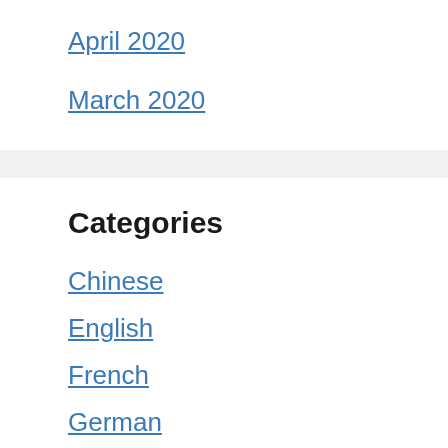April 2020
March 2020
Categories
Chinese
English
French
German
Reviews
Spanish
Uncategorized